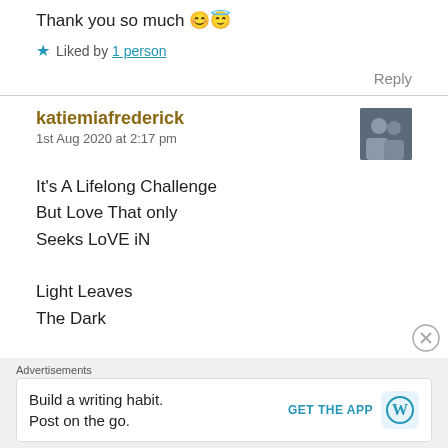Thank you so much 😊😇
★ Liked by 1 person
Reply
katiemiafrederick
1st Aug 2020 at 2:17 pm
It's A Lifelong Challenge
But Love That only
Seeks LoVE iN
Light Leaves
The Dark
[Figure (photo): Avatar photo of two people]
Advertisements
Build a writing habit. Post on the go.
GET THE APP